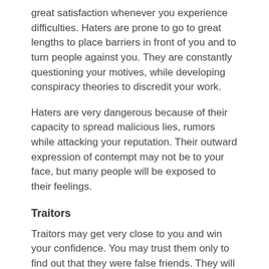great satisfaction whenever you experience difficulties. Haters are prone to go to great lengths to place barriers in front of you and to turn people against you. They are constantly questioning your motives, while developing conspiracy theories to discredit your work.
Haters are very dangerous because of their capacity to spread malicious lies, rumors while attacking your reputation. Their outward expression of contempt may not be to your face, but many people will be exposed to their feelings.
Traitors
Traitors may get very close to you and win your confidence. You may trust them only to find out that they were false friends. They will work inwardly to unravel and discredit your progress to success. They will secretly try to undermine your efforts and tell people about your innermost secrets and weaknesses. Traitors may start out as relaters, but somewhere along the way they turn against you. Hopefully you will find out soon enough that they